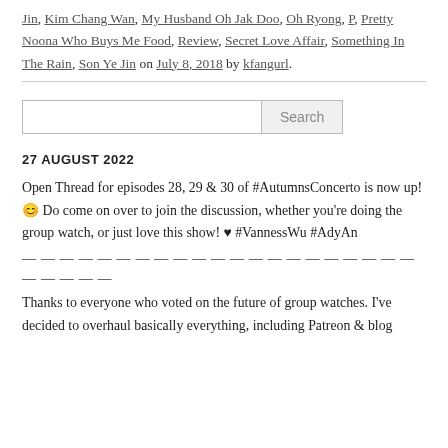Jin, Kim Chang Wan, My Husband Oh Jak Doo, Oh Ryong, P, Pretty Noona Who Buys Me Food, Review, Secret Love Affair, Something In The Rain, Son Ye Jin on July 8, 2018 by kfangurl.
[Figure (other): Search bar with text input field and Search button]
27 AUGUST 2022
Open Thread for episodes 28, 29 & 30 of #AutumnsConcerto is now up! 😊 Do come on over to join the discussion, whether you're doing the group watch, or just love this show! ♥ #VannessWu #AdyAn
— — — — — — — — — — — — — — — — — — — — — — — — — —
Thanks to everyone who voted on the future of group watches. I've decided to overhaul basically everything, including Patreon & blog